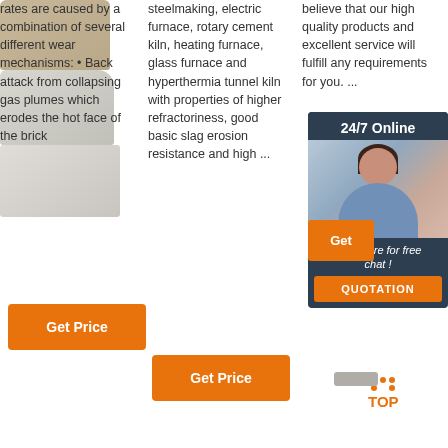rates are caused by a combination of several different wear mechanisms: • Back attack from collapsing gas plumes which erodes the hot face of the brick
steelmaking, electric furnace, rotary cement kiln, heating furnace, glass furnace and hyperthermia tunnel kiln with properties of higher refractoriness, good basic slag erosion resistance and high ...
believe that our high quality products and excellent service will fulfill any requirements for you. ...
[Figure (infographic): Chat widget with 24/7 Online header, photo of woman with headset, 'Click here for free chat!' text, and orange QUOTATION button]
Get Price
Get
Get Price
[Figure (infographic): TOP navigation button with orange dots arranged in triangle and orange TOP text]
[Figure (photo): Brown/tan refractory brick product image]
[Figure (photo): Light gray/white refractory brick product image]
[Figure (photo): White refractory brick with slot product image]